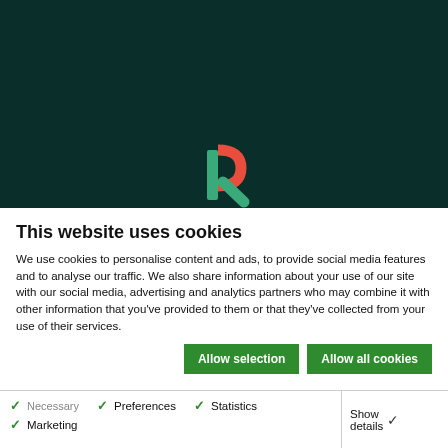[Figure (logo): Stylized R logo with green vertical bar and orange/red semicircle on dark teal background]
This website uses cookies
We use cookies to personalise content and ads, to provide social media features and to analyse our traffic. We also share information about your use of our site with our social media, advertising and analytics partners who may combine it with other information that you've provided to them or that they've collected from your use of their services.
Allow selection
Allow all cookies
Necessary   Preferences   Statistics   Marketing   Show details